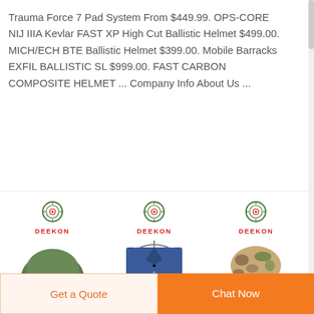Trauma Force 7 Pad System From $449.99. OPS-CORE NIJ IIIA Kevlar FAST XP High Cut Ballistic Helmet $499.00. MICH/ECH BTE Ballistic Helmet $399.00. Mobile Barracks EXFIL BALLISTIC SL $999.00. FAST CARBON COMPOSITE HELMET ... Company Info About Us ...
[Figure (photo): Three product images each with DEEKON branding: (1) olive green military helmet with visor, (2) blue military uniform/flight suit on hanger, (3) camouflage boonie hat]
BALLISTIC ARMOR CO PRO.---Ballistic
Get a Quote
Chat Now